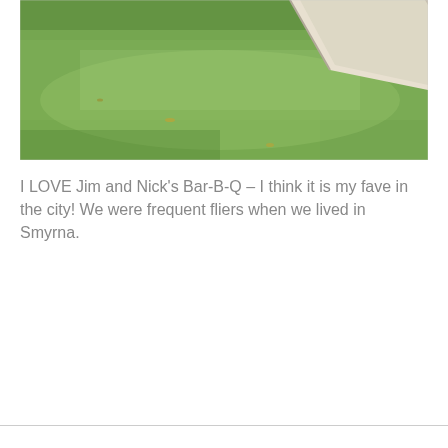[Figure (photo): Outdoor photo showing a green grass lawn in sunlight with a light-colored wooden board or ramp visible in the upper right corner, taken at Jim and Nick's Bar-B-Q.]
I LOVE Jim and Nick's Bar-B-Q – I think it is my fave in the city!  We were frequent fliers when we lived in Smyrna.